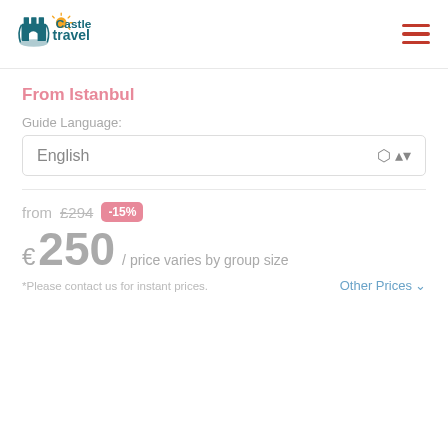[Figure (logo): Castle Travel logo — castle icon with teal/blue coloring and orange sun, text 'Castle travel' in teal]
From Istanbul
Guide Language:
English
from £294 -15%
€250 / price varies by group size
*Please contact us for instant prices.
Other Prices